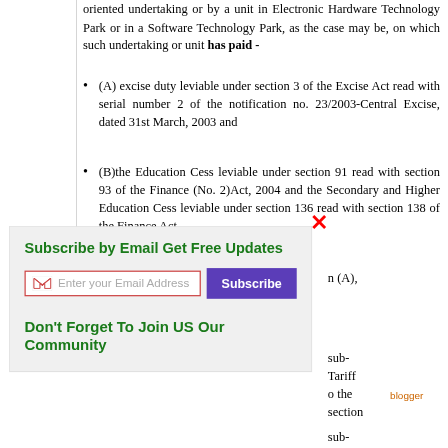oriented undertaking or by a unit in Electronic Hardware Technology Park or in a Software Technology Park, as the case may be, on which such undertaking or unit has paid -
(A) excise duty leviable under section 3 of the Excise Act read with serial number 2 of the notification no. 23/2003-Central Excise, dated 31st March, 2003 and
(B)the Education Cess leviable under section 91 read with section 93 of the Finance (No. 2)Act, 2004 and the Secondary and Higher Education Cess leviable under section 136 read with section 138 of the Finance Act,
[Figure (other): Email subscription popup widget with Gmail icon input field and Subscribe button, overlaying the document content. Contains title 'Subscribe by Email Get Free Updates', email input, Subscribe button in purple, and footer text 'Don't Forget To Join US Our Community'. Red X close button in upper right corner.]
n (A),
sub-Tariff o the ection
sub-Tariff